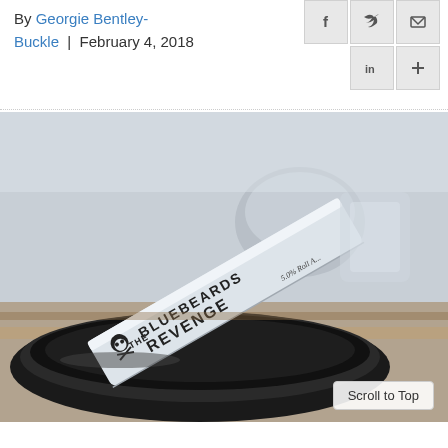By Georgie Bentley-Buckle | February 4, 2018
[Figure (photo): A straight razor branded with 'The Bluebeards Revenge' logo (skull and crossbones) resting in a black shaving bowl, with shaving accessories blurred in the background. A label on the razor reads '5.0% Roll A...']
Scroll to Top